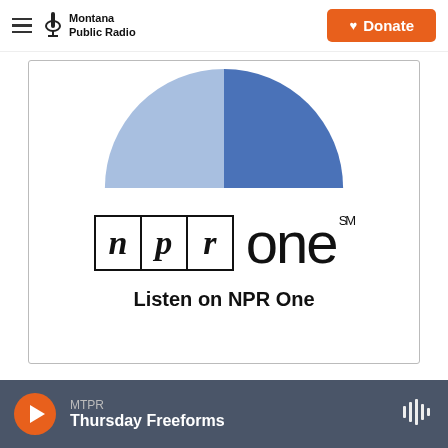Montana Public Radio — Donate
[Figure (other): Partial pie/donut chart showing two blue segments (light blue and darker blue) — only the top half is visible, cropped at the bottom of the chart area.]
[Figure (logo): NPR One logo: 'npr' in three bordered boxes followed by 'one' in large light text with SM superscript]
Listen on NPR One
MTPR — Thursday Freeforms